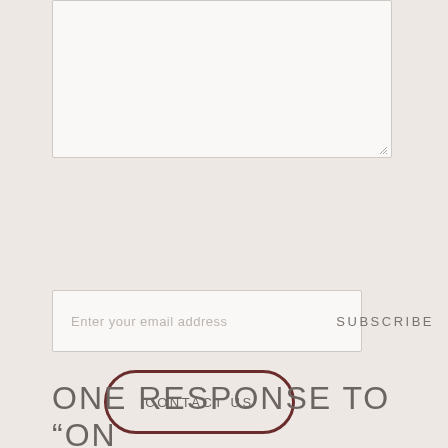[Figure (screenshot): A textarea input box with a light background and resize handle in the bottom-right corner]
CONTACT US
Enter your email address
SUBSCRIBE
ONE RESPONSE TO “ON COMMUNITY”